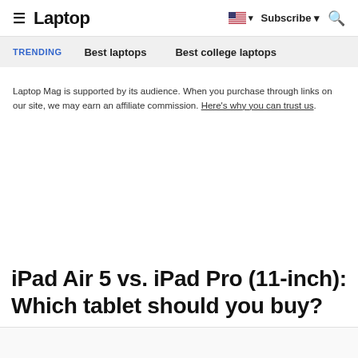Laptop | Subscribe | Search
TRENDING   Best laptops   Best college laptops
Laptop Mag is supported by its audience. When you purchase through links on our site, we may earn an affiliate commission. Here's why you can trust us.
iPad Air 5 vs. iPad Pro (11-inch): Which tablet should you buy?